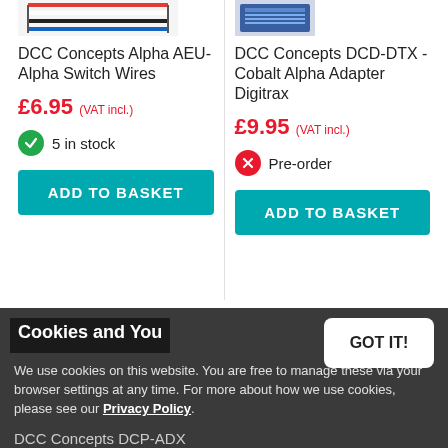[Figure (photo): Product image of DCC Concepts Alpha AEU-Alpha Switch Wires (cables/wires shown)]
DCC Concepts Alpha AEU-Alpha Switch Wires
£6.95 (VAT incl.)
5 in stock
ADD TO BASKET
[Figure (photo): Product image of DCC Concepts DCD-DTX Cobalt Alpha Adapter Digitrax]
DCC Concepts DCD-DTX - Cobalt Alpha Adapter Digitrax
£9.95 (VAT incl.)
Pre-order
ADD TO BASKET
Cookies and You
We use cookies on this website. You are free to manage these via your browser settings at any time. For more about how we use cookies, please see our Privacy Policy.
DCC Concepts DCP-ADX Cobalt Alpha Extension